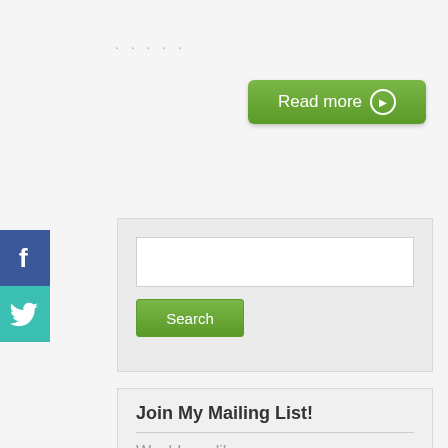. . . . .
[Figure (other): Green 'Read more' button with right arrow circle icon]
[Figure (other): Facebook social share button (blue with 'f' icon)]
[Figure (other): Twitter social share button (teal with bird icon)]
[Figure (other): Search widget box with text input field and green Search button]
Join My Mailing List!
Would you like more